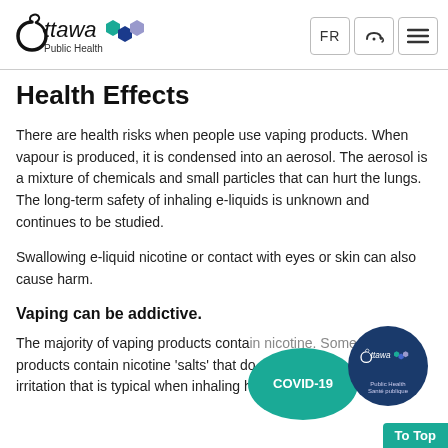[Figure (logo): Ottawa Public Health logo with stylized O, 'Ottawa' text, 'Public Health' subtitle, and three hexagon shapes in teal, dark blue, and light blue]
Health Effects
There are health risks when people use vaping products. When vapour is produced, it is condensed into an aerosol. The aerosol is a mixture of chemicals and small particles that can hurt the lungs. The long-term safety of inhaling e-liquids is unknown and continues to be studied.
Swallowing e-liquid nicotine or contact with eyes or skin can also cause harm.
Vaping can be addictive.
The majority of vaping products contain nicotine. Some products contain nicotine 'salts' that do not cause the irritation that is typical when inhaling high levels of
[Figure (infographic): COVID-19 badge overlay with teal circle showing 'COVID-19' text, dark blue Ottawa Public Health circle logo, and teal 'To Top' button in bottom right corner]